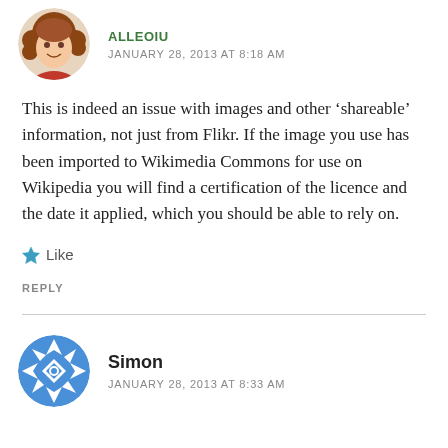[Figure (illustration): Circular avatar of a cartoon woman with curly red-brown hair]
JANUARY 28, 2013 AT 8:18 AM
This is indeed an issue with images and other 'shareable' information, not just from Flikr. If the image you use has been imported to Wikimedia Commons for use on Wikipedia you will find a certification of the licence and the date it applied, which you should be able to rely on.
Like
REPLY
[Figure (illustration): Circular avatar with blue and white geometric/snowflake pattern]
Simon
JANUARY 28, 2013 AT 8:33 AM